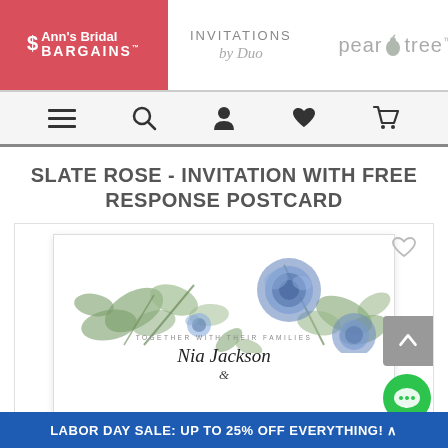[Figure (logo): Ann's Bridal Bargains logo (red background, white text), Invitations by Duo script logo, Pear Tree logo]
[Figure (screenshot): Navigation bar with hamburger menu, search, account, heart/wishlist, and cart icons]
SLATE ROSE - INVITATION WITH FREE RESPONSE POSTCARD
[Figure (photo): Wedding invitation card preview with watercolor blue roses and greenery floral design, text reading: Together with their families, Nia Jackson &]
LABOR DAY SALE: UP TO 25% OFF EVERYTHING!